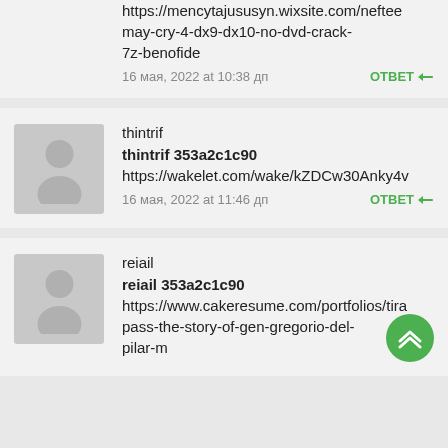https://mencytajususyn.wixsite.com/neftee…may-cry-4-dx9-dx10-no-dvd-crack-7z-benofide
16 мая, 2022 at 10:38 дп    ОТВЕТ
thintrif
thintrif 353a2c1c90
https://wakelet.com/wake/kZDCw30Anky4v…
16 мая, 2022 at 11:46 дп    ОТВЕТ
reiail
reiail 353a2c1c90
https://www.cakeresume.com/portfolios/tira…pass-the-story-of-gen-gregorio-del-pilar-m